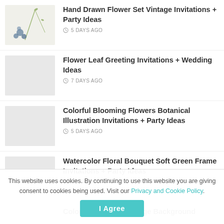Hand Drawn Flower Set Vintage Invitations + Party Ideas
5 DAYS AGO
Flower Leaf Greeting Invitations + Wedding Ideas
7 DAYS AGO
Colorful Blooming Flowers Botanical Illustration Invitations + Party Ideas
5 DAYS AGO
Watercolor Floral Bouquet Soft Green Frame Invitations + Party Ideas
5 DAYS AGO
Colorful Flower Set Beige Background
This website uses cookies. By continuing to use this website you are giving consent to cookies being used. Visit our Privacy and Cookie Policy.